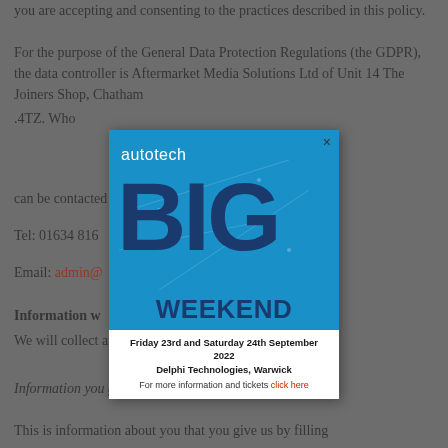you are accepting and consenting to the practices described in this policy.
For the purpose of the General Data Protection Regulations (the GDPR), the data controller is Aftermarket Media Solutions Ltd of Unit 14 The Joiners Shop, Chatham... 4TZ. Who can be contacted... details:
Tel: 01634 816...
Email: admin@...
[Figure (advertisement): Autotech BIG WEEKEND advertisement popup. Friday 23rd and Saturday 24th September 2022, Delphi Technologies, Warwick. For more information and tickets click here.]
Information w...
We will collect and process the following data about you:
Information you give us.
This is information about you that you give us by filling